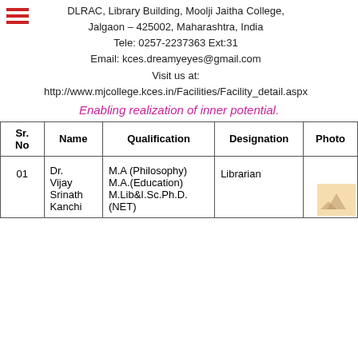DLRAC, Library Building, Moolji Jaitha College, Jalgaon – 425002, Maharashtra, India
Tele: 0257-2237363 Ext:31
Email: kces.dreamyeyes@gmail.com
Visit us at:
http://www.mjcollege.kces.in/Facilities/Facility_detail.aspx
Enabling realization of inner potential.
| Sr. No | Name | Qualification | Designation | Photo |
| --- | --- | --- | --- | --- |
| 01 | Dr. Vijay Srinath Kanchi | M.A (Philosophy) M.A.(Education) M.Lib&I.Sc.Ph.D. (NET) | Librarian |  |